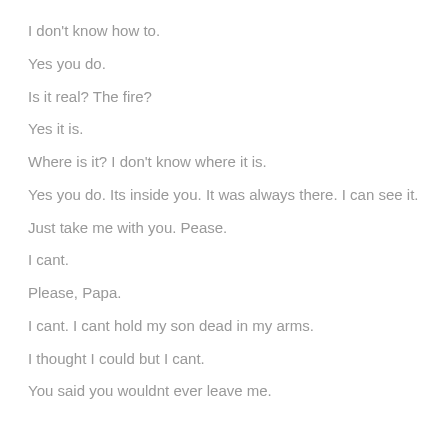I don't know how to.
Yes you do.
Is it real? The fire?
Yes it is.
Where is it? I don't know where it is.
Yes you do. Its inside you. It was always there. I can see it.
Just take me with you. Pease.
I cant.
Please, Papa.
I cant. I cant hold my son dead in my arms.
I thought I could but I cant.
You said you wouldnt ever leave me.